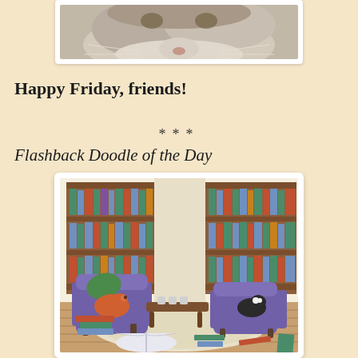[Figure (photo): Close-up photo of a cat's face, showing whiskers and fur, partially cropped at top of page]
Happy Friday, friends!
***
Flashback Doodle of the Day
[Figure (illustration): Color illustration of a cozy library reading room with two purple armchairs, bookshelves filled with colorful books, a round rug, coffee table with cups, stacked books on the floor, an open book, and two cats — one orange cat sleeping in a chair, one black-and-white cat sitting in another chair]